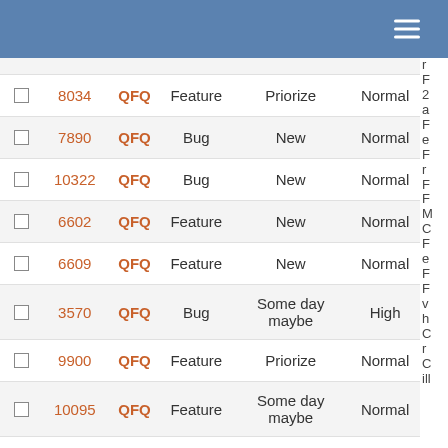|  | # | Project | Type | Status | Priority |
| --- | --- | --- | --- | --- | --- |
| ☐ | 8034 | QFQ | Feature | Priorize | Normal |
| ☐ | 7890 | QFQ | Bug | New | Normal |
| ☐ | 10322 | QFQ | Bug | New | Normal |
| ☐ | 6602 | QFQ | Feature | New | Normal |
| ☐ | 6609 | QFQ | Feature | New | Normal |
| ☐ | 3570 | QFQ | Bug | Some day maybe | High |
| ☐ | 9900 | QFQ | Feature | Priorize | Normal |
| ☐ | 10095 | QFQ | Feature | Some day maybe | Normal |